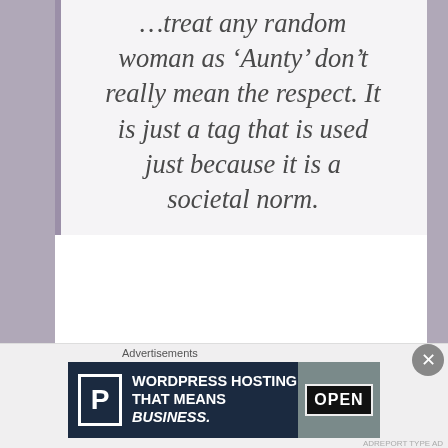…treat any random woman as 'Aunty' don't really mean the respect. It is just a tag that is used just because it is a societal norm.
In India, the terms 'aunty' and 'uncle' are loosely used to describe casual relation with an elder. More often than not the term denotes an irritating woman, who can never be a friend. She
[Figure (screenshot): Advertisement banner for WordPress Hosting with the text 'WORDPRESS HOSTING THAT MEANS BUSINESS.' with a P icon and an OPEN sign image on the right side.]